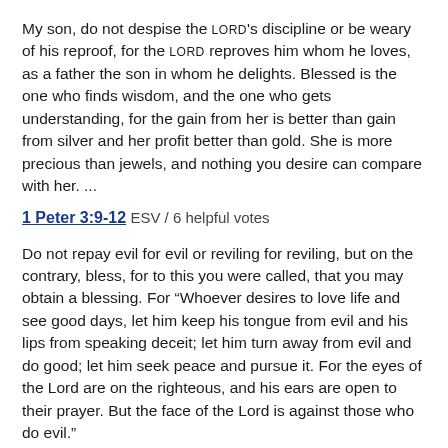My son, do not despise the LORD's discipline or be weary of his reproof, for the LORD reproves him whom he loves, as a father the son in whom he delights. Blessed is the one who finds wisdom, and the one who gets understanding, for the gain from her is better than gain from silver and her profit better than gold. She is more precious than jewels, and nothing you desire can compare with her. ...
1 Peter 3:9-12 ESV / 6 helpful votes
Do not repay evil for evil or reviling for reviling, but on the contrary, bless, for to this you were called, that you may obtain a blessing. For “Whoever desires to love life and see good days, let him keep his tongue from evil and his lips from speaking deceit; let him turn away from evil and do good; let him seek peace and pursue it. For the eyes of the Lord are on the righteous, and his ears are open to their prayer. But the face of the Lord is against those who do evil.”
2 Timothy 1:7 ESV / 6 helpful votes